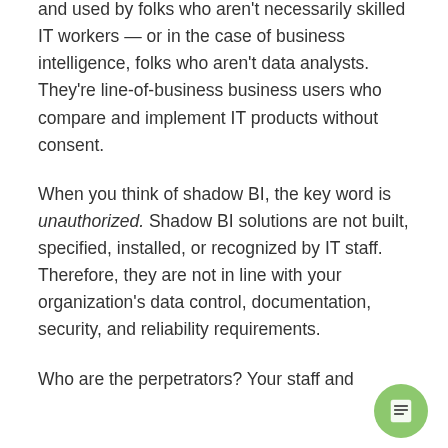and used by folks who aren't necessarily skilled IT workers — or in the case of business intelligence, folks who aren't data analysts. They're line-of-business business users who compare and implement IT products without consent.
When you think of shadow BI, the key word is unauthorized. Shadow BI solutions are not built, specified, installed, or recognized by IT staff. Therefore, they are not in line with your organization's data control, documentation, security, and reliability requirements.
Who are the perpetrators? Your staff and
[Figure (other): A circular green button/icon with a list/document icon in the bottom right corner of the page.]